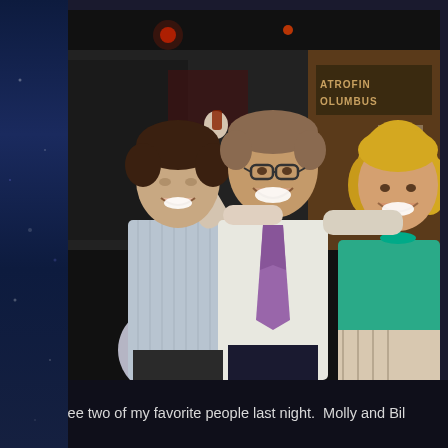[Figure (photo): A photograph of three people posing together in what appears to be a restaurant or bar setting. On the left is a young man with dark hair wearing a light blue/grey striped shirt, raising one arm up. In the middle is a middle-aged man wearing a white dress shirt and a purple/pink tie, with glasses, smiling broadly. On the right is a young blonde woman wearing a teal/green top. A wooden sign reading 'COLUMBUS' is partially visible in the background.]
I got to see two of my favorite people last night.  Molly and Bil